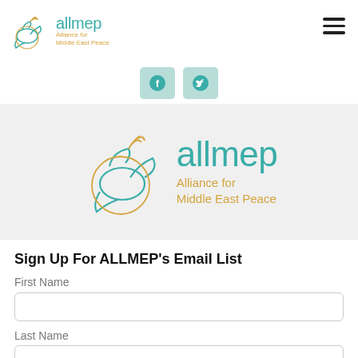[Figure (logo): ALLMEP (Alliance for Middle East Peace) logo in navigation bar - teal dove illustration with golden text]
[Figure (other): Hamburger menu icon (three horizontal lines) in top right corner]
[Figure (other): Social media icons strip - Facebook and Twitter buttons with teal background]
[Figure (logo): Large ALLMEP logo on gray background - teal dove with golden Alliance for Middle East Peace tagline]
Sign Up For ALLMEP's Email List
First Name
Last Name